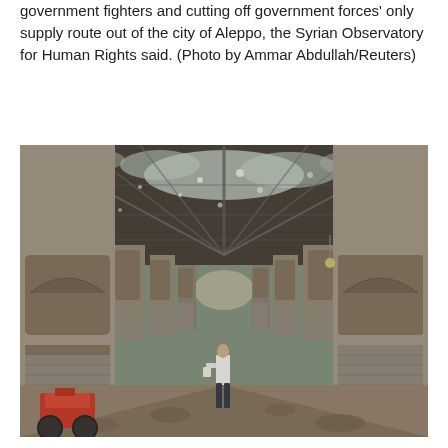government fighters and cutting off government forces' only supply route out of the city of Aleppo, the Syrian Observatory for Human Rights said. (Photo by Ammar Abdullah/Reuters)
[Figure (photo): Interior of a damaged covered market (souk) in Aleppo, Syria. The arched metal roof structure is heavily damaged with holes letting in light. Shuttered shops line both sides of the long corridor. A lone person in a white shirt stands in the middle distance on debris-strewn ground. A red motorcycle is visible in the foreground left.]